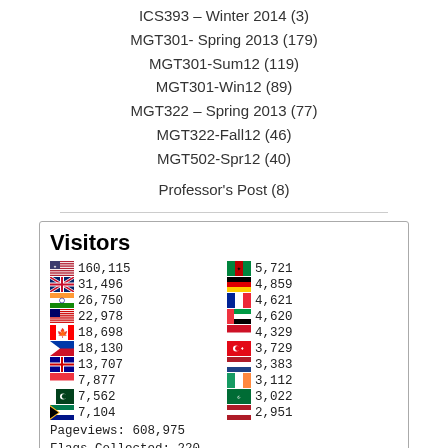ICS393 – Winter 2014 (3)
MGT301- Spring 2013 (179)
MGT301-Sum12 (119)
MGT301-Win12 (89)
MGT322 – Spring 2013 (77)
MGT322-Fall12 (46)
MGT502-Spr12 (40)
Professor's Post (8)
[Figure (infographic): Flag counter widget showing visitor counts by country. Visitors: 160,115 (US), 31,496 (UK), 26,750 (India), 22,978, 18,698 (Canada), 18,130 (Philippines), 13,707 (Australia), 7,877, 7,562 (Pakistan), 7,104 (South Africa), 5,721 (Kenya), 4,859 (Germany), 4,621 (France), 4,620 (UAE), 4,329, 3,729, 3,383, 3,112 (Ireland), 3,022 (Saudi Arabia), 2,951 (Netherlands). Pageviews: 608,975. Flags Collected: 220.]
Free counters